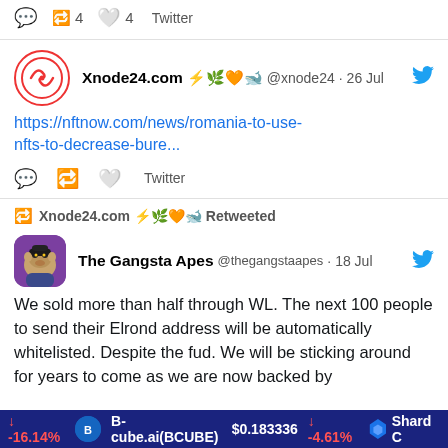Winners announced 🎉 in 4h
🗨 🔁 4  🤍 4  Twitter
Xnode24.com ⚡🌿🧡🐋 @xnode24 · 26 Jul
https://nftnow.com/news/romania-to-use-nfts-to-decrease-bure...
🗨 🔁 🤍 Twitter
🔁 Xnode24.com ⚡🌿🧡🐋 Retweeted
The Gangsta Apes @thegangstaapes · 18 Jul
We sold more than half through WL. The next 100 people to send their Elrond address will be automatically whitelisted. Despite the fud. We will be sticking around for years to come as we are now backed by
⬇ -16.14%  B-cube.ai(BCUBE)  $0.183336  ⬇ -4.61%  Shard C